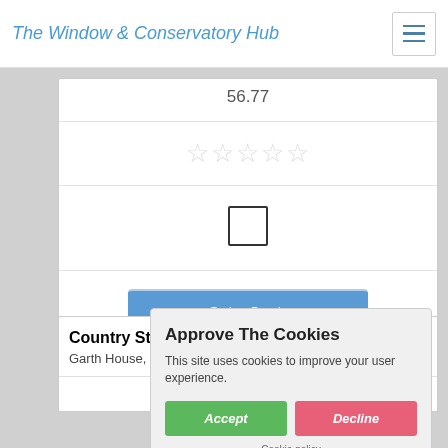The Window & Conservatory Hub
56.77
[Figure (other): Five empty star rating icons (all unfilled/grey)]
[Figure (other): Empty checkbox square icon]
Get a Quote
Country Styl...
Garth House, Low Hesket, C...
5770
Approve The Cookies
This site uses cookies to improve your user experience.
Accept
Decline
Cookie policy